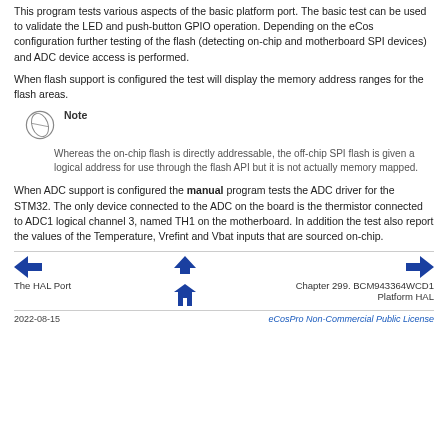This program tests various aspects of the basic platform port. The basic test can be used to validate the LED and push-button GPIO operation. Depending on the eCos configuration further testing of the flash (detecting on-chip and motherboard SPI devices) and ADC device access is performed.
When flash support is configured the test will display the memory address ranges for the flash areas.
Note
Whereas the on-chip flash is directly addressable, the off-chip SPI flash is given a logical address for use through the flash API but it is not actually memory mapped.
When ADC support is configured the manual program tests the ADC driver for the STM32. The only device connected to the ADC on the board is the thermistor connected to ADC1 logical channel 3, named TH1 on the motherboard. In addition the test also report the values of the Temperature, Vrefint and Vbat inputs that are sourced on-chip.
The HAL Port | Chapter 299. BCM943364WCD1 Platform HAL
2022-08-15 | eCosPro Non-Commercial Public License